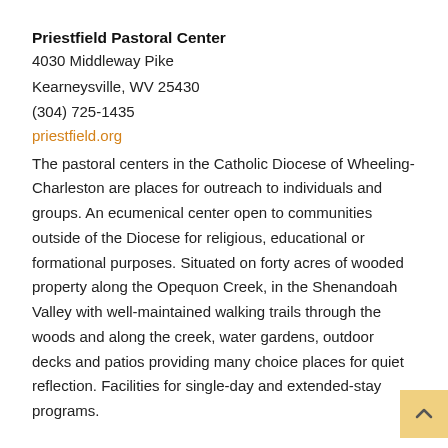Priestfield Pastoral Center
4030 Middleway Pike
Kearneysville, WV 25430
(304) 725-1435
priestfield.org
The pastoral centers in the Catholic Diocese of Wheeling-Charleston are places for outreach to individuals and groups. An ecumenical center open to communities outside of the Diocese for religious, educational or formational purposes. Situated on forty acres of wooded property along the Opequon Creek, in the Shenandoah Valley with well-maintained walking trails through the woods and along the creek, water gardens, outdoor decks and patios providing many choice places for quiet reflection. Facilities for single-day and extended-stay programs.